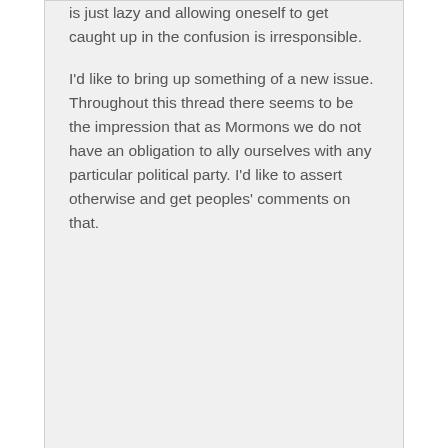is just lazy and allowing oneself to get caught up in the confusion is irresponsible.

I'd like to bring up something of a new issue. Throughout this thread there seems to be the impression that as Mormons we do not have an obligation to ally ourselves with any particular political party. I'd like to assert otherwise and get peoples' comments on that.
Jed
March 10, 2005 at 8:56 am
Christie Frandsen: "Remember when the Saints were forced to create a two party system in Utah in order to qualify for statehood? As the story goes, Brigham stood up in conference, and with an arbitrary wave of his hand, divided them up into Republicans